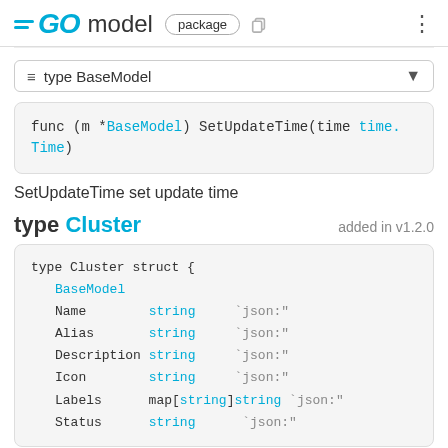GO model package
type BaseModel
SetUpdateTime set update time
type Cluster  added in v1.2.0